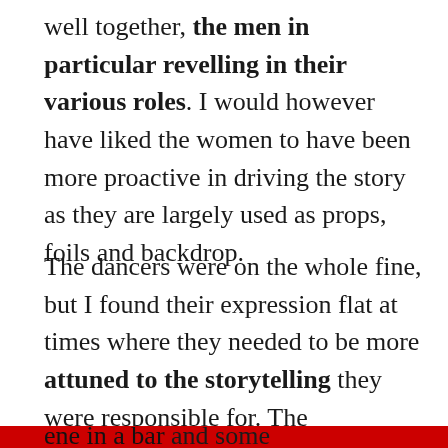well together, the men in particular revelling in their various roles. I would however have liked the women to have been more proactive in driving the story as they are largely used as props, foils and backdrop.
The dancers were on the whole fine, but I found their expression flat at times where they needed to be more attuned to the storytelling they were responsible for. The choreography was not a particular strength for the most part, and some dances seemed superfluous as they rehashed themes already explored through previous numbers. However it really picked up in the second act, with a [clipped text continues]